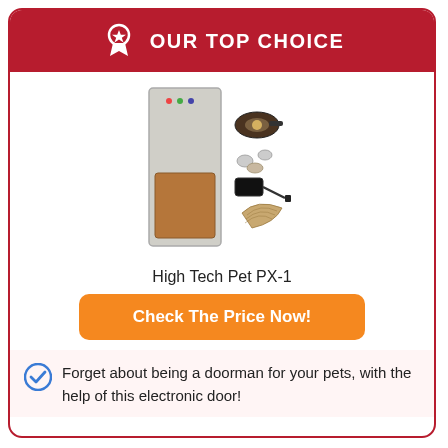OUR TOP CHOICE
[Figure (photo): Product photo of High Tech Pet PX-1 electronic pet door with accessories including a collar sensor, power adapter, and mounting hardware]
High Tech Pet PX-1
Check The Price Now!
Forget about being a doorman for your pets, with the help of this electronic door!